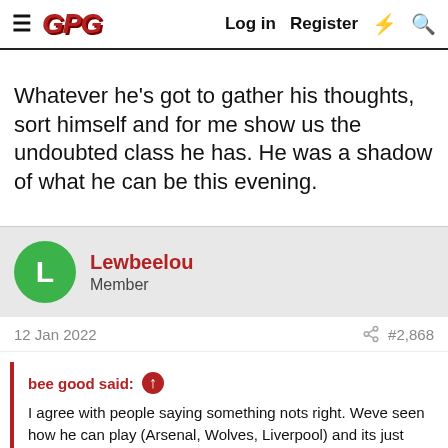GPG | Log in | Register
Whatever he's got to gather his thoughts, sort himself and for me show us the undoubted class he has. He was a shadow of what he can be this evening.
Lewbeelou
Member
12 Jan 2022   #2,868
bee good said:
I agree with people saying something nots right. Weve seen how he can play (Arsenal, Wolves, Liverpool) and its just not happening at the moment.

Possible causes:
Carrying an injury
Got fed up with his role
Click to expand...